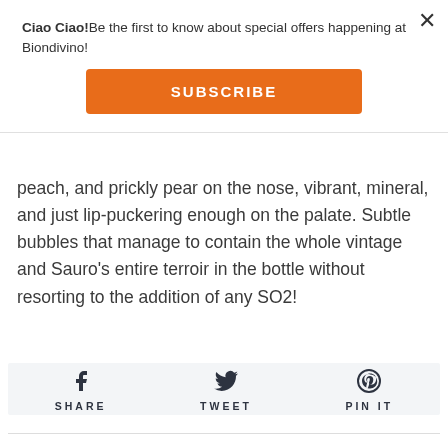Ciao Ciao!Be the first to know about special offers happening at Biondivino!
SUBSCRIBE
peach, and prickly pear on the nose, vibrant, mineral, and just lip-puckering enough on the palate. Subtle bubbles that manage to contain the whole vintage and Sauro's entire terroir in the bottle without resorting to the addition of any SO2!
[Figure (infographic): Social share bar with Facebook (SHARE), Twitter (TWEET), and Pinterest (PIN IT) icons]